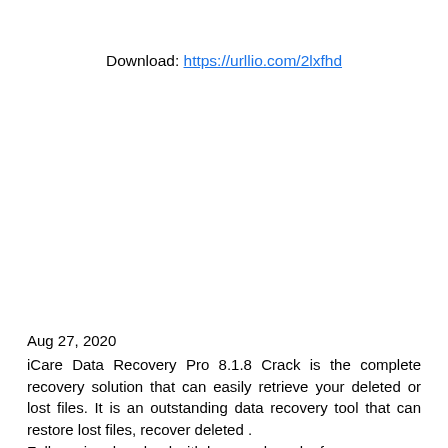Download: https://urllio.com/2lxfhd
Aug 27, 2020
 iCare Data Recovery Pro 8.1.8 Crack is the complete recovery solution that can easily retrieve your deleted or lost files. It is an outstanding data recovery tool that can restore lost files, recover deleted .
Full version download with keys and crack of